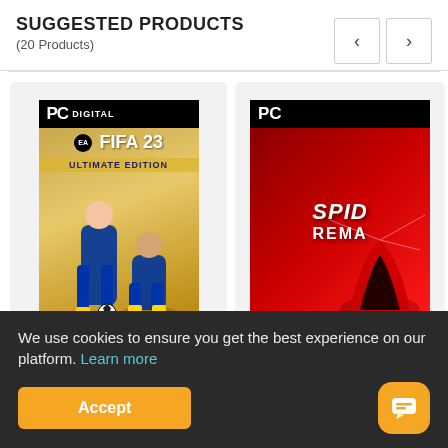SUGGESTED PRODUCTS
(20 Products)
[Figure (photo): FIFA 23 Ultimate Edition PC Digital game box art showing two soccer players on a golden background]
[Figure (photo): Marvel's Spider-Man Remastered PC Digital game box art showing Spider-Man on red background (partially cropped)]
Pre-order: FIFA 23 Ultimate Edition PC EU (30/09)
Marvel's Spider-Ma...
We use cookies to ensure you get the best experience on our platform. Learn more
Accept